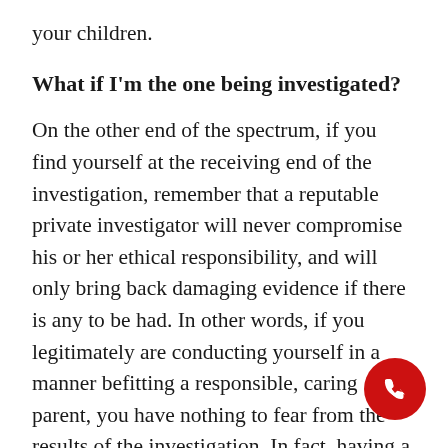your children.
What if I'm the one being investigated?
On the other end of the spectrum, if you find yourself at the receiving end of the investigation, remember that a reputable private investigator will never compromise his or her ethical responsibility, and will only bring back damaging evidence if there is any to be had. In other words, if you legitimately are conducting yourself in a manner befitting a responsible, caring parent, you have nothing to fear from the results of the investigation. In fact, having a private investigator hired by your spouse conclude that there is no reason why you shouldn't be allowed custody of your